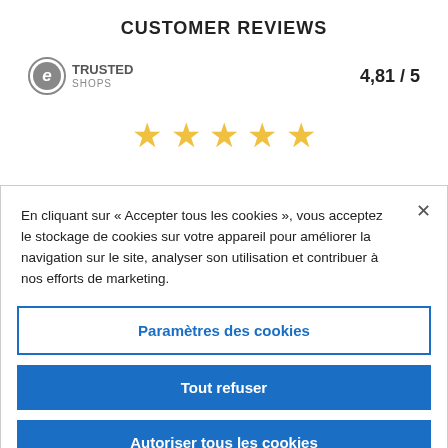CUSTOMER REVIEWS
[Figure (logo): Trusted Shops logo with circular e icon, text TRUSTED SHOPS]
4,81 / 5
[Figure (infographic): Five gold star rating icons]
[Figure (infographic): Black banner with delivery truck icon and text: Free delivery*]
En cliquant sur « Accepter tous les cookies », vous acceptez le stockage de cookies sur votre appareil pour améliorer la navigation sur le site, analyser son utilisation et contribuer à nos efforts de marketing.
Paramètres des cookies
Tout refuser
Autoriser tous les cookies